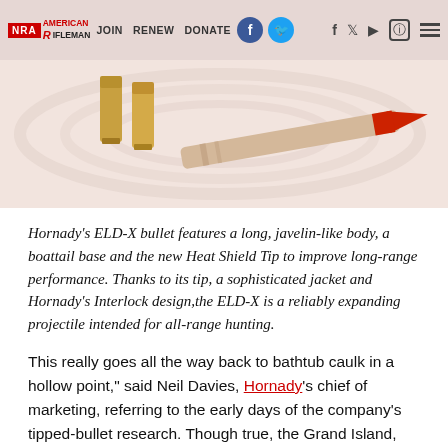NRA AMERICAN RIFLEMAN  JOIN  RENEW  DONATE
[Figure (photo): Photo of rifle ammunition — two brass bullet casings on the left and a red-tipped Hornady ELD-X bullet projectile on the right, on a pinkish/cream swirled background.]
Hornady's ELD-X bullet features a long, javelin-like body, a boattail base and the new Heat Shield Tip to improve long-range performance. Thanks to its tip, a sophisticated jacket and Hornady's Interlock design,the ELD-X is a reliably expanding projectile intended for all-range hunting.
This really goes all the way back to bathtub caulk in a hollow point," said Neil Davies, Hornady's chief of marketing, referring to the early days of the company's tipped-bullet research. Though true, the Grand Island, Neb., ammunition maker has evolved